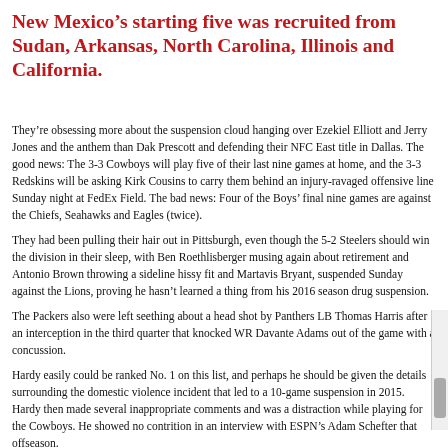New Mexico's starting five was recruited from Sudan, Arkansas, North Carolina, Illinois and California.
They're obsessing more about the suspension cloud hanging over Ezekiel Elliott and Jerry Jones and the anthem than Dak Prescott and defending their NFC East title in Dallas. The good news: The 3-3 Cowboys will play five of their last nine games at home, and the 3-3 Redskins will be asking Kirk Cousins to carry them behind an injury-ravaged offensive line Sunday night at FedEx Field. The bad news: Four of the Boys' final nine games are against the Chiefs, Seahawks and Eagles (twice).
They had been pulling their hair out in Pittsburgh, even though the 5-2 Steelers should win the division in their sleep, with Ben Roethlisberger musing again about retirement and Antonio Brown throwing a sideline hissy fit and Martavis Bryant, suspended Sunday against the Lions, proving he hasn't learned a thing from his 2016 season drug suspension.
The Packers also were left seething about a head shot by Panthers LB Thomas Harris after an interception in the third quarter that knocked WR Davante Adams out of the game with a concussion.
Hardy easily could be ranked No. 1 on this list, and perhaps he should be given the details surrounding the domestic violence incident that led to a 10-game suspension in 2015. Hardy then made several inappropriate comments and was a distraction while playing for the Cowboys. He showed no contrition in an interview with ESPN's Adam Schefter that offseason.